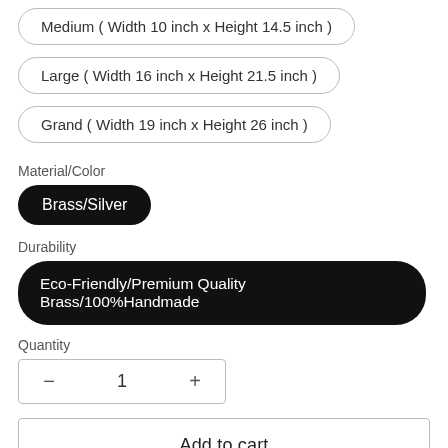Medium ( Width 10 inch x Height 14.5 inch )
Large ( Width 16 inch x Height 21.5 inch )
Grand ( Width 19 inch x Height 26 inch )
Material/Color
Brass/Silver
Durability
Eco-Friendly/Premium Quality Brass/100%Handmade
Quantity
− 1 +
Add to cart